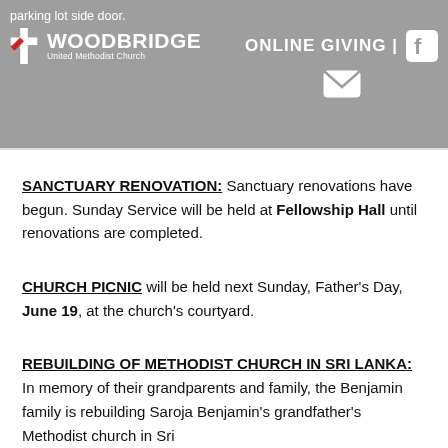parking lot side door. Woodbridge United Methodist Church | ONLINE GIVING | [Facebook icon] [Email icon]
SANCTUARY RENOVATION: Sanctuary renovations have begun. Sunday Service will be held at Fellowship Hall until renovations are completed.
CHURCH PICNIC will be held next Sunday, Father's Day, June 19, at the church's courtyard.
REBUILDING OF METHODIST CHURCH IN SRI LANKA: In memory of their grandparents and family, the Benjamin family is rebuilding Saroja Benjamin's grandfather's Methodist church in Sri